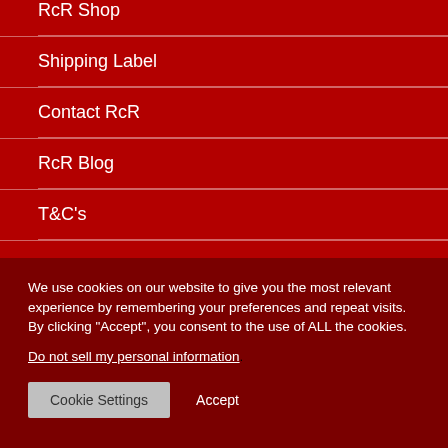RcR Shop
Shipping Label
Contact RcR
RcR Blog
T&C's
Privacy Policy
Cookie Policy
We use cookies on our website to give you the most relevant experience by remembering your preferences and repeat visits. By clicking “Accept”, you consent to the use of ALL the cookies.
Do not sell my personal information.